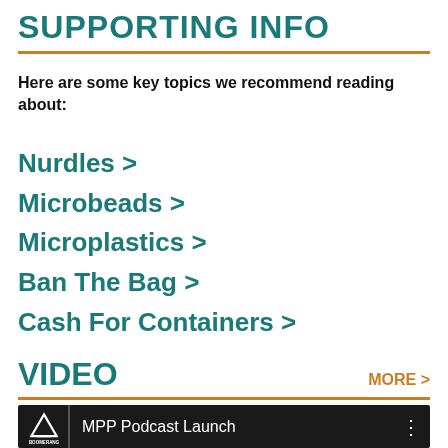SUPPORTING INFO
Here are some key topics we recommend reading about:
Nurdles >
Microbeads >
Microplastics >
Ban The Bag >
Cash For Containers >
VIDEO
MORE >
[Figure (screenshot): Video thumbnail showing Boomerang Alliance logo and text 'MPP Podcast Launch' on a dark background with a three-dot menu icon]